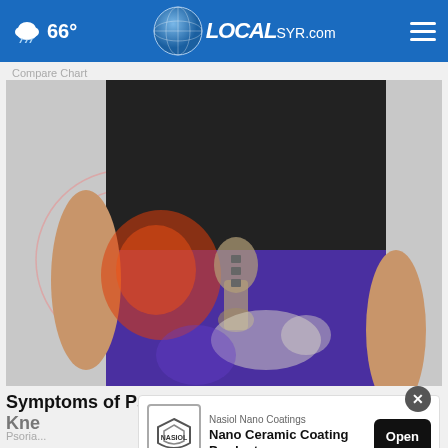66° LOCAL SYR.com
Compare Chart
[Figure (photo): Medical illustration showing hip joint anatomy with pain indicators (red glowing area on hip/pelvis region) overlaid on a person wearing purple leggings and black top, holding their hip]
Symptoms of Psoriatic Arthritis You May Wish You Knew Sooner
Psoria...
[Figure (other): Advertisement overlay: Nasiol Nano Coatings - Nano Ceramic Coating Products with Open button]